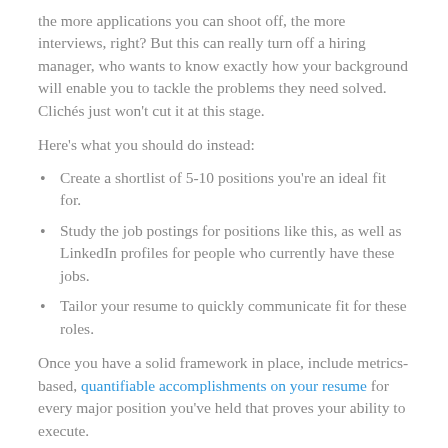the more applications you can shoot off, the more interviews, right? But this can really turn off a hiring manager, who wants to know exactly how your background will enable you to tackle the problems they need solved. Clichés just won't cut it at this stage.
Here's what you should do instead:
Create a shortlist of 5-10 positions you're an ideal fit for.
Study the job postings for positions like this, as well as LinkedIn profiles for people who currently have these jobs.
Tailor your resume to quickly communicate fit for these roles.
Once you have a solid framework in place, include metrics-based, quantifiable accomplishments on your resume for every major position you've held that proves your ability to execute.